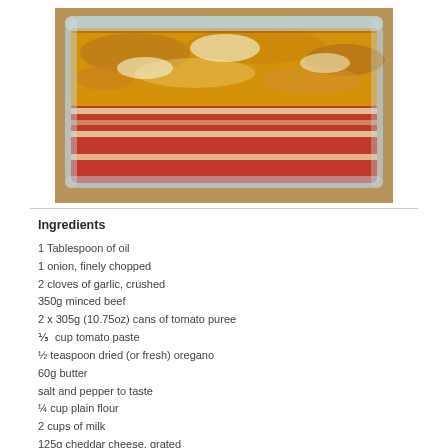[Figure (photo): A baked lasagne in a rectangular glass dish, showing layers of pasta, tomato meat sauce, and golden browned cheese on top viewed from the side.]
Ingredients
1 Tablespoon of oil
1 onion, finely chopped
2 cloves of garlic, crushed
350g minced beef
2 x 305g (10.75oz) cans of tomato puree
⅓  cup tomato paste
½ teaspoon dried (or fresh) oregano
60g butter
salt and pepper to taste
¼ cup plain flour
2 cups of milk
125g cheddar cheese, grated
Lasagne sheets (instant, packet)
Parmesan cheese (approximately ¼ cup)